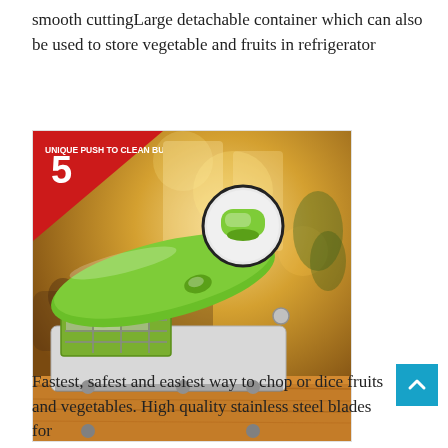smooth cuttingLarge detachable container which can also be used to store vegetable and fruits in refrigerator
[Figure (photo): A green and white vegetable/food chopper/dicer product with blades visible, placed on a wooden surface. A red triangle badge in top left shows number 5 with text 'UNIQUE PUSH TO CLEAN BUTTON'. A circular callout shows the green push button detail.]
Fastest, safest and easiest way to chop or dice fruits and vegetables. High quality stainless steel blades for